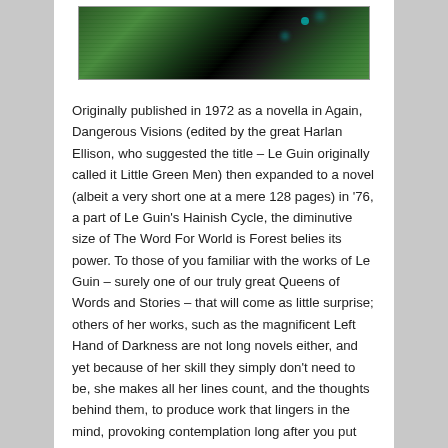[Figure (photo): Partial view of a book cover showing dark trees against a green/teal background with glowing teal dots, likely from 'The Word For World is Forest' by Ursula K. Le Guin]
Originally published in 1972 as a novella in Again, Dangerous Visions (edited by the great Harlan Ellison, who suggested the title – Le Guin originally called it Little Green Men) then expanded to a novel (albeit a very short one at a mere 128 pages) in '76, a part of Le Guin's Hainish Cycle, the diminutive size of The Word For World is Forest belies its power. To those of you familiar with the works of Le Guin – surely one of our truly great Queens of Words and Stories – that will come as little surprise; others of her works, such as the magnificent Left Hand of Darkness are not long novels either, and yet because of her skill they simply don't need to be, she makes all her lines count, and the thoughts behind them, to produce work that lingers in the mind, provoking contemplation long after you put the book down.
Several centuries in the future and humans have expanded into space, entering an age of stellar